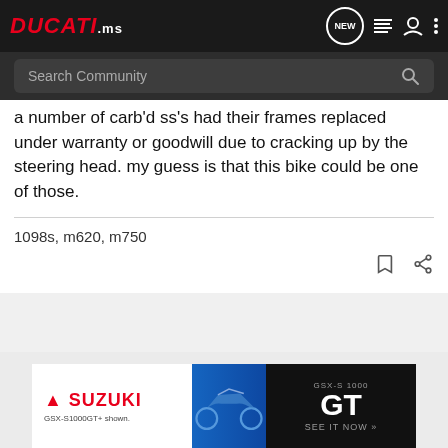DUCATI.ms — NEW — Search Community
a number of carb'd ss's had their frames replaced under warranty or goodwill due to cracking up by the steering head. my guess is that this bike could be one of those.
1098s, m620, m750
[Figure (screenshot): Suzuki GSX-S1000 GT advertisement banner at bottom of page]